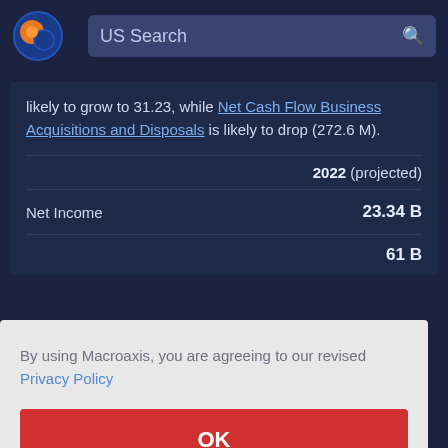[Figure (logo): Macroaxis globe logo with orange and blue colors]
US Search
likely to grow to 31.23, while Net Cash Flow Business Acquisitions and Disposals is likely to drop (272.6 M).
|  | 2022 (projected) |
| --- | --- |
| Net Income | 23.34 B |
|  | 61 B |
By using Macroaxis, you are agreeing to our revised Privacy Policy
OK